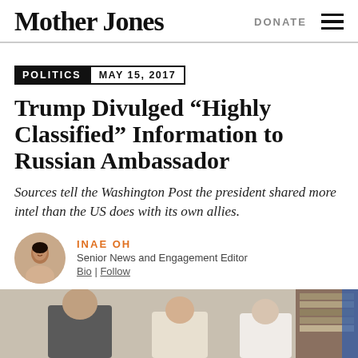Mother Jones | DONATE
POLITICS   MAY 15, 2017
Trump Divulged “Highly Classified” Information to Russian Ambassador
Sources tell the Washington Post the president shared more intel than the US does with its own allies.
INAE OH
Senior News and Engagement Editor
Bio | Follow
[Figure (photo): Photo showing people in an office setting, appears to be meeting scene]